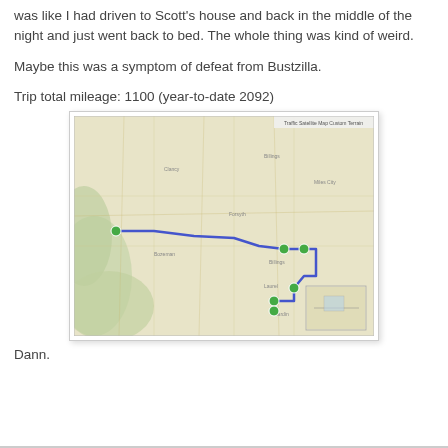was like I had driven to Scott's house and back in the middle of the night and just went back to bed. The whole thing was kind of weird.
Maybe this was a symptom of defeat from Bustzilla.
Trip total mileage: 1100 (year-to-date 2092)
[Figure (map): A road map showing a route with a blue line connecting several green pin markers, traveling from a point on the left (west) side eastward then south, covering what appears to be a route through the western United States plains/mountain region.]
Dann.